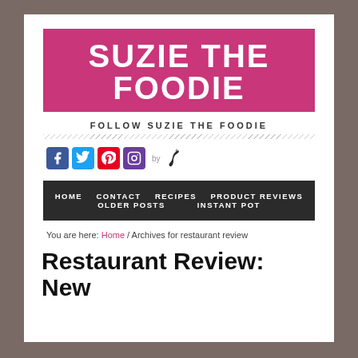SUZIE THE FOODIE
FOLLOW SUZIE THE FOODIE
[Figure (infographic): Social media icons row: Facebook (blue), Twitter (light blue), Pinterest (red), Instagram (purple), followed by 'by' text and a chili pepper icon]
HOME   CONTACT   RECIPES   PRODUCT REVIEWS   OLDER POSTS   INSTANT POT
You are here: Home / Archives for restaurant review
Restaurant Review: New